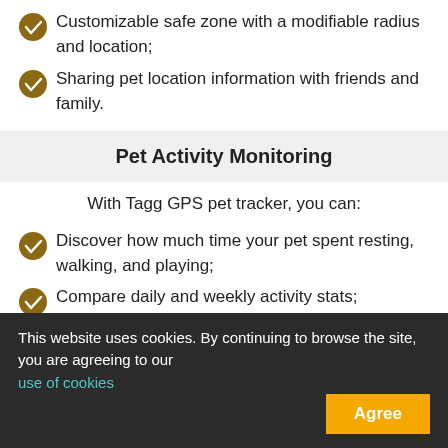Customizable safe zone with a modifiable radius and location;
Sharing pet location information with friends and family.
Pet Activity Monitoring
With Tagg GPS pet tracker, you can:
Discover how much time your pet spent resting, walking, and playing;
Compare daily and weekly activity stats;
Custom-define activity goals for your pet.
Training Assistance
Tagg pet tracker does not provide training assistance.
This website uses cookies. By continuing to browse the site, you are agreeing to our use of cookies